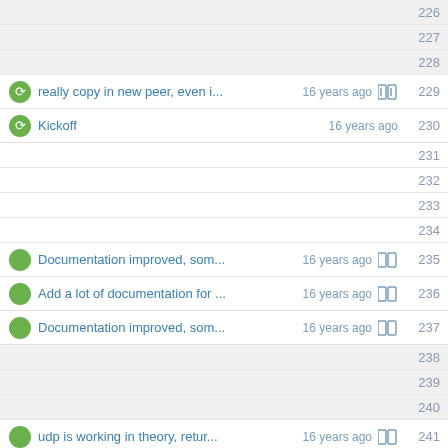226
227
228
really copy in new peer, even i... 16 years ago 229
Kickoff 16 years ago 230
231
232
233
234
Documentation improved, som... 16 years ago 235
Add a lot of documentation for ... 16 years ago 236
Documentation improved, som... 16 years ago 237
238
239
240
udp is working in theory, retur... 16 years ago 241
Introduce another unspec'd co... 16 years ago 242
243
This is a complete rewrite... as... 16 years ago 244
Introduce another unspec'd co... 16 years ago 245
announce now returns all man... 16 years ago 246